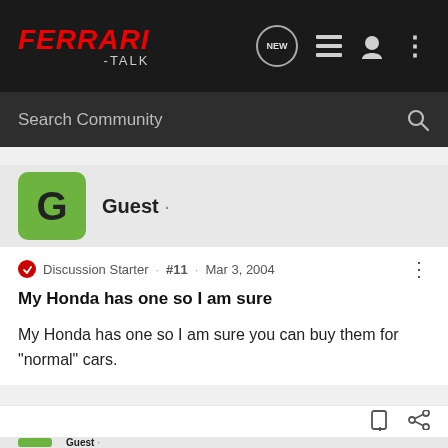Ferrari-TALK · NEW · Search Community
Guest ·
Discussion Starter · #11 · Mar 3, 2004
My Honda has one so I am sure
My Honda has one so I am sure you can buy them for "normal" cars.
Guest ·